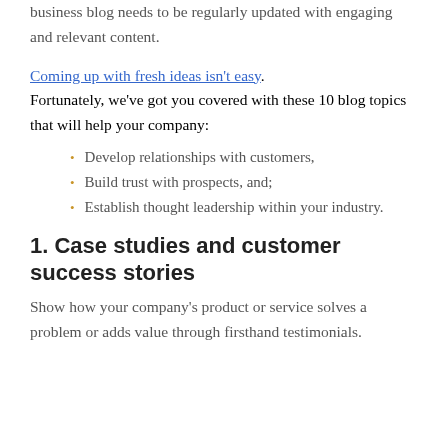business blog needs to be regularly updated with engaging and relevant content.
Coming up with fresh ideas isn't easy. Fortunately, we've got you covered with these 10 blog topics that will help your company:
Develop relationships with customers,
Build trust with prospects, and;
Establish thought leadership within your industry.
1. Case studies and customer success stories
Show how your company's product or service solves a problem or adds value through firsthand testimonials.